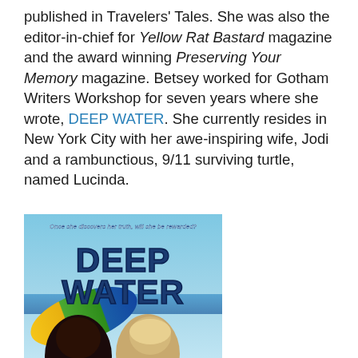published in Travelers' Tales. She was also the editor-in-chief for Yellow Rat Bastard magazine and the award winning Preserving Your Memory magazine. Betsey worked for Gotham Writers Workshop for seven years where she wrote, DEEP WATER. She currently resides in New York City with her awe-inspiring wife, Jodi and a rambunctious, 9/11 surviving turtle, named Lucinda.
[Figure (illustration): Book cover for 'Deep Water' — blue sky and beach background with large bold dark blue text reading 'DEEP WATER', tagline 'Once she discovers her truth, will she be rewarded?' at top, two figures (dark-haired and blonde) in foreground with a colorful beach umbrella.]